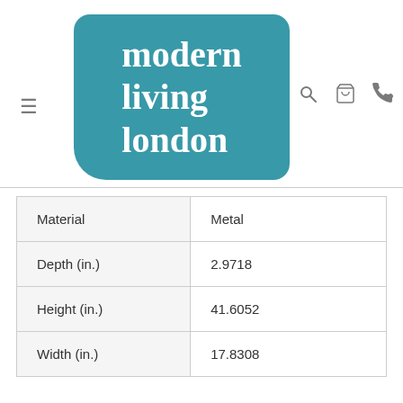[Figure (logo): Modern Living London logo — teal rounded rectangle with white serif bold text reading 'modern living london']
| Material | Metal |
| Depth (in.) | 2.9718 |
| Height (in.) | 41.6052 |
| Width (in.) | 17.8308 |